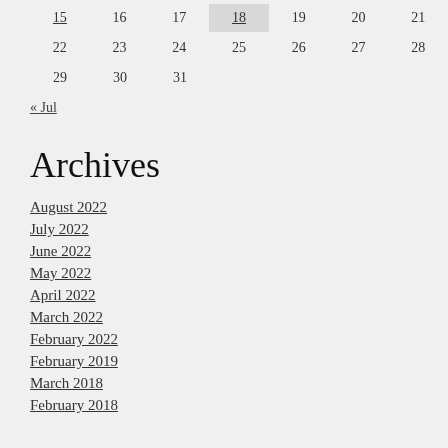| 15 | 16 | 17 | 18 | 19 | 20 | 21 |
| 22 | 23 | 24 | 25 | 26 | 27 | 28 |
| 29 | 30 | 31 |  |  |  |  |
« Jul
Archives
August 2022
July 2022
June 2022
May 2022
April 2022
March 2022
February 2022
February 2019
March 2018
February 2018